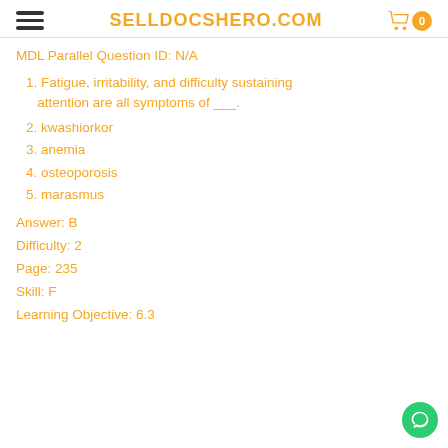SELLDOCSHERO.COM
MDL Parallel Question ID: N/A
1. Fatigue, irritability, and difficulty sustaining attention are all symptoms of ___.
2. kwashiorkor
3. anemia
4. osteoporosis
5. marasmus
Answer: B
Difficulty: 2
Page: 235
Skill: F
Learning Objective: 6.3